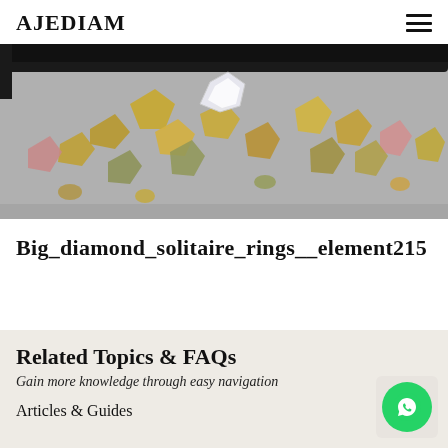AJEDIAM
[Figure (photo): Overhead close-up photograph of loose rough and polished diamonds of various colors (yellow, white, pink, green) scattered on a grey surface, with a black gem tweezers/holder visible at the top.]
Big_diamond_solitaire_rings__element215
Related Topics & FAQs
Gain more knowledge through easy navigation
Articles & Guides